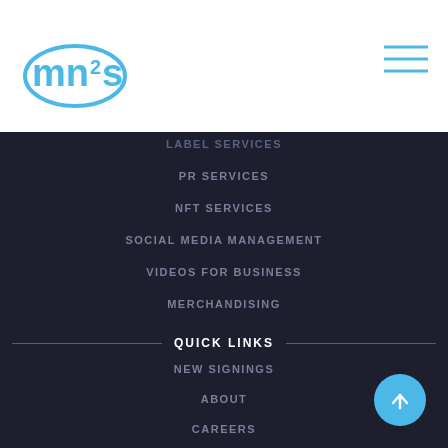[Figure (logo): mn2s logo in blue with superscript 2]
[Figure (other): Hamburger menu icon (three horizontal lines) in blue]
LABEL SERVICES
PR SERVICES
NFT SERVICES
SOCIAL MEDIA MANAGEMENT
VIDEOS FOR BUSINESS
MERCHANDISING
QUICK LINKS
NEW SIGNINGS
ABOUT
CAREERS
CORPORATE EVENT DJ